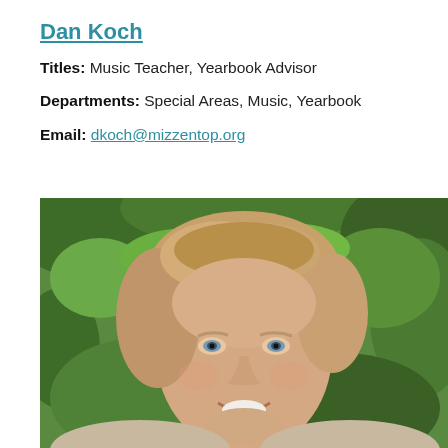Dan Koch
Titles: Music Teacher, Yearbook Advisor
Departments: Special Areas, Music, Yearbook
Email: dkoch@mizzentop.org
[Figure (photo): Headshot photo of a woman with medium-length light brown/blonde hair, smiling, against a green leafy outdoor background.]